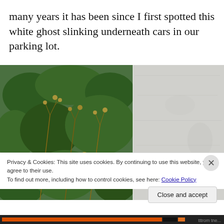many years it has been since I first spotted this white ghost slinking underneath cars in our parking lot.
[Figure (photo): Split image: left half shows green shrubs and dried wildflower stems; right half shows a pale grey concrete or stone wall surface.]
Privacy & Cookies: This site uses cookies. By continuing to use this website, you agree to their use.
To find out more, including how to control cookies, see here: Cookie Policy
Close and accept